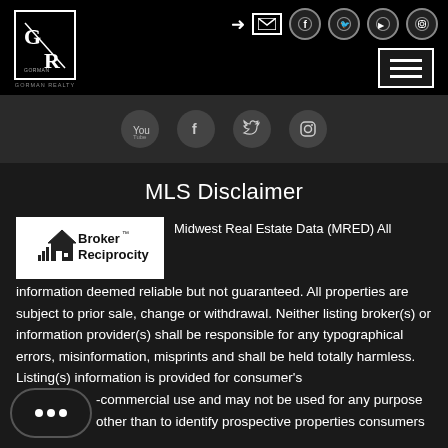[Figure (logo): GR logo in white border square box, top-left of black navigation bar]
[Figure (infographic): Top navigation bar with social media icons (login arrow, mail, facebook, twitter, youtube, instagram) and hamburger menu button on black background]
[Figure (infographic): Row of four dark circular social media icons: YouTube, Facebook, Twitter, Instagram on dark gray background]
MLS Disclaimer
[Figure (logo): Broker Reciprocity logo with house icon and text 'Broker Reciprocity' on white background]
Midwest Real Estate Data (MRED) All information deemed reliable but not guaranteed. All properties are subject to prior sale, change or withdrawal. Neither listing broker(s) or information provider(s) shall be responsible for any typographical errors, misinformation, misprints and shall be held totally harmless. Listing(s) information is provided for consumer's -commercial use and may not be used for any purpose other than to identify prospective properties consumers